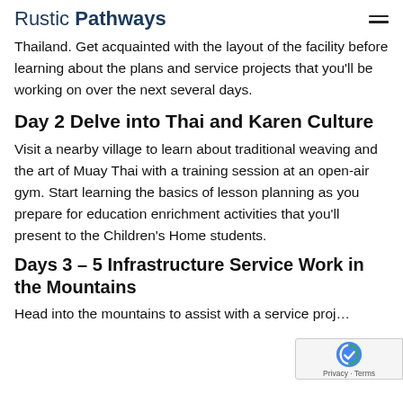Rustic Pathways
Thailand. Get acquainted with the layout of the facility before learning about the plans and service projects that you'll be working on over the next several days.
Day 2 Delve into Thai and Karen Culture
Visit a nearby village to learn about traditional weaving and the art of Muay Thai with a training session at an open-air gym. Start learning the basics of lesson planning as you prepare for education enrichment activities that you'll present to the Children's Home students.
Days 3 – 5 Infrastructure Service Work in the Mountains
Head into the mountains to assist with a service proj…